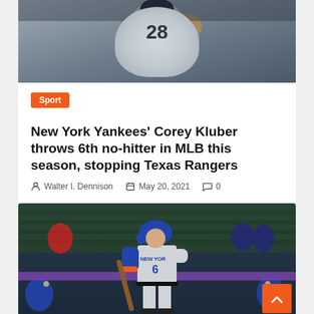[Figure (photo): New York Yankees player mid-pitch wearing pinstripe uniform with number 28]
Sport
New York Yankees' Corey Kluber throws 6th no-hitter in MLB this season, stopping Texas Rangers
Walter I. Dennison   May 20, 2021   0
[Figure (photo): New York Mets player number 6 in gray road uniform batting at the plate]